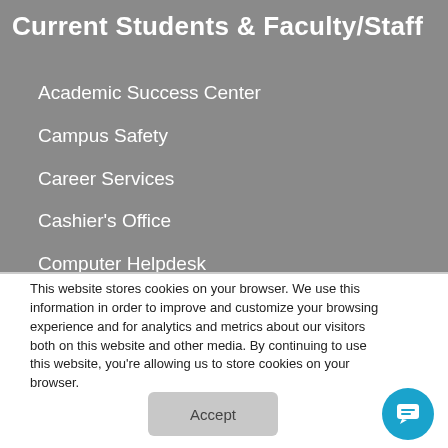Current Students & Faculty/Staff
Academic Success Center
Campus Safety
Career Services
Cashier's Office
Computer Helpdesk
Ombudsman Assistance Form
This website stores cookies on your browser. We use this information in order to improve and customize your browsing experience and for analytics and metrics about our visitors both on this website and other media. By continuing to use this website, you're allowing us to store cookies on your browser.